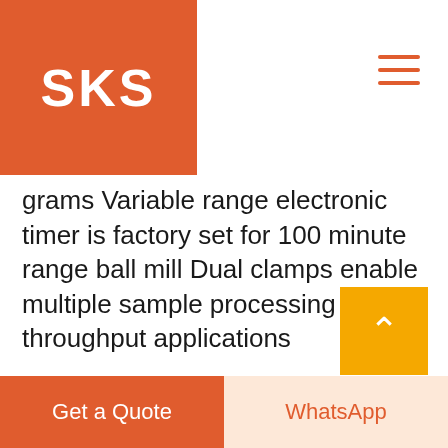SKS
grams Variable range electronic timer is factory set for 100 minute range ball mill Dual clamps enable multiple sample processing for high throughput applications
[Figure (photo): Industrial ball mill machine photographed from below under a steel gantry/bridge structure, with factory banners visible in the background. The machine is large, dark/black colored cylindrical grinding mill.]
Get a Quote
WhatsApp